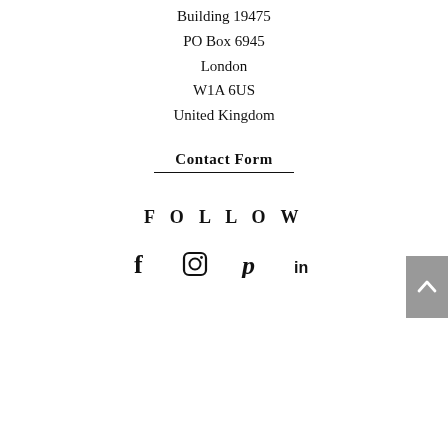Building 19475
PO Box 6945
London
W1A 6US
United Kingdom
Contact Form
FOLLOW
[Figure (other): Row of four social media icons: Facebook (f), Instagram (camera), Pinterest (P), LinkedIn (in)]